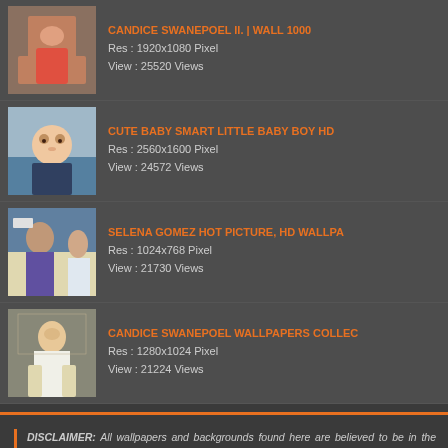CANDICE SWANEPOEL II. | WALL 1000
Res : 1920x1080 Pixel
View : 25520 Views
CUTE BABY SMART LITTLE BABY BOY HD
Res : 2560x1600 Pixel
View : 24572 Views
SELENA GOMEZ HOT PICTURE, HD WALLPA
Res : 1024x768 Pixel
View : 21730 Views
CANDICE SWANEPOEL WALLPAPERS COLLEC
Res : 1280x1024 Pixel
View : 21224 Views
DISCLAIMER: All wallpapers and backgrounds found here are believed to be in the "public domain". Most of the images displayed are of unknown origin. We do not intend to infringe any legitimate intellectual right, artistic rights or copyright. If you are the rightful owner of any of the pictures/wallpapers posted here, and you do not want it to be displayed or if you require a suitable credit, then please contact us and we will immediately do whatever is needed either for the image to be removed or provide credit where it is due. All the content of this site are free of charge and therefore we do not gain any financial benefit from the downloads of an